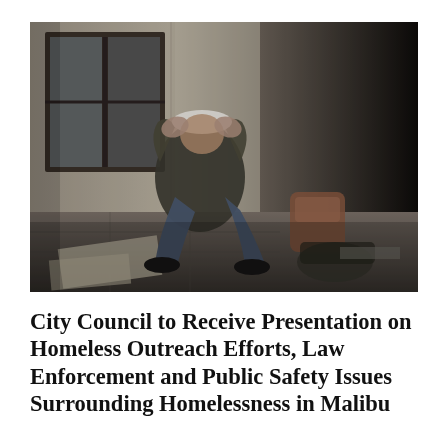[Figure (photo): A person wearing a white baseball cap and dark jacket sits on a sidewalk against a building wall, head bowed and hands covering their face, with belongings and bags beside them. Black and white/desaturated photograph depicting homelessness.]
City Council to Receive Presentation on Homeless Outreach Efforts, Law Enforcement and Public Safety Issues Surrounding Homelessness in Malibu